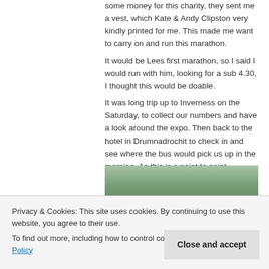some money for this charity, they sent me a vest, which Kate & Andy Clipston very kindly printed for me. This made me want to carry on and run this marathon.
It would be Lees first marathon, so I said I would run with him, looking for a sub 4.30, I thought this would be doable.
It was long trip up to Inverness on the Saturday, to collect our numbers and have a look around the expo. Then back to the hotel in Drumnadrochit to check in and see where the bus would pick us up in the morning, As this is a point to point marathon, we would be taken to the start by buses.
[Figure (photo): A photograph of a person in a blue vest/running top, partially visible, with trees and outdoor scenery in the background. The image is partially obscured by a cookie consent banner overlay.]
Privacy & Cookies: This site uses cookies. By continuing to use this website, you agree to their use.
To find out more, including how to control cookies, see here: Cookie Policy
Close and accept